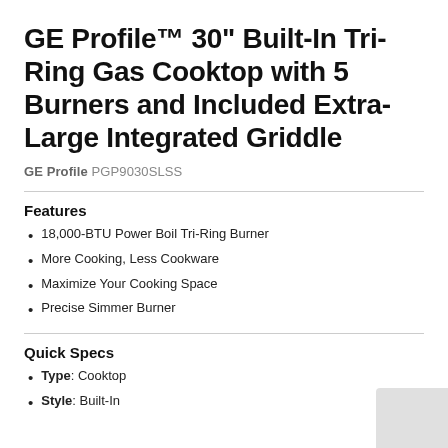GE Profile™ 30" Built-In Tri-Ring Gas Cooktop with 5 Burners and Included Extra-Large Integrated Griddle
GE Profile PGP9030SLSS
Features
18,000-BTU Power Boil Tri-Ring Burner
More Cooking, Less Cookware
Maximize Your Cooking Space
Precise Simmer Burner
Quick Specs
Type: Cooktop
Style: Built-In